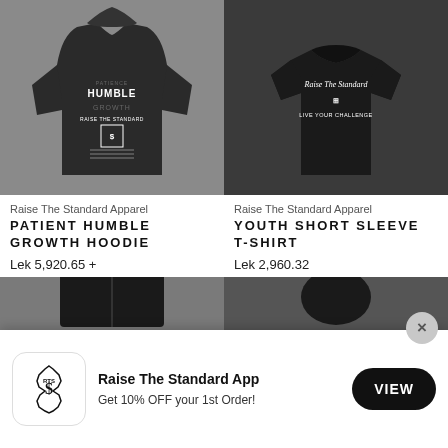[Figure (photo): Dark grey hoodie with 'Patient Humble Growth Raise The Standard' text graphic on front]
[Figure (photo): Black t-shirt with 'Raise The Standard / Live Your Challenge' script text on front]
Raise The Standard Apparel
PATIENT HUMBLE GROWTH HOODIE
Lek 5,920.65 +
Raise The Standard Apparel
YOUTH SHORT SLEEVE T-SHIRT
Lek 2,960.32
[Figure (photo): Black shorts product image, partially visible]
[Figure (photo): Black product image, partially visible]
[Figure (logo): Raise The Standard App icon with ornate monogram logo]
Raise The Standard App
Get 10% OFF your 1st Order!